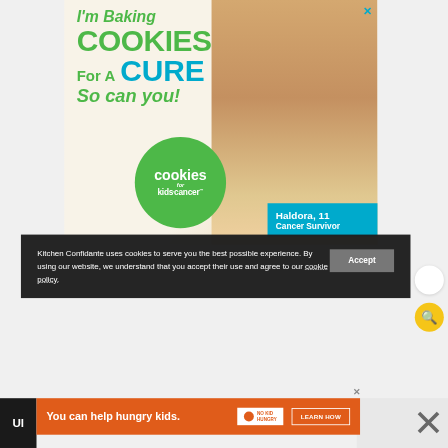[Figure (advertisement): Cookies for Kids' Cancer charity ad. Large banner showing text 'I'm Baking COOKIES For A CURE So can you!' in green and teal colors, with a green circle logo reading 'cookies for kids' cancer' (with trademark symbol), a teal badge reading 'Haldora, 11 Cancer Survivor', and a photo of a smiling girl holding a plate of cookies. Close X button in top right.]
Kitchen Confidante uses cookies to serve you the best possible experience. By using our website, we understand that you accept their use and agree to our cookie policy.
[Figure (advertisement): Bottom orange banner ad: 'You can help hungry kids.' with No Kid Hungry logo and 'LEARN HOW' button. Close X button above right corner.]